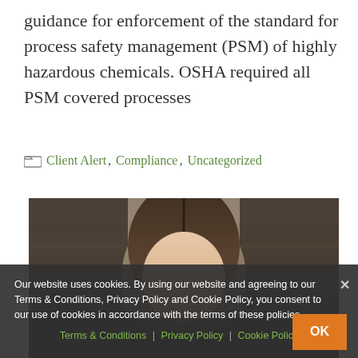guidance for enforcement of the standard for process safety management (PSM) of highly hazardous chemicals. OSHA required all PSM covered processes
Client Alert, Compliance, Uncategorized
[Figure (photo): Headshot of a person with brown hair against a stone/brick wall background]
Our website uses cookies. By using our website and agreeing to our Terms & Conditions, Privacy Policy and Cookie Policy, you consent to our use of cookies in accordance with the terms of these policies. Terms & Conditions | Privacy Policy | Cookie Policy OK